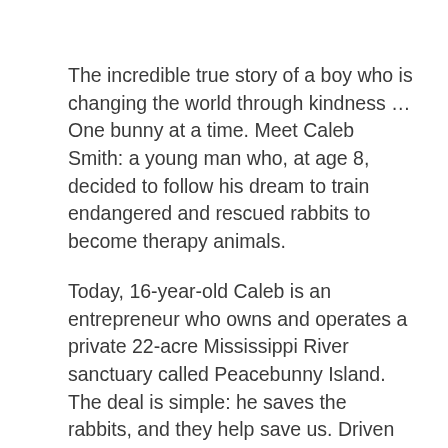The incredible true story of a boy who is changing the world through kindness … One bunny at a time. Meet Caleb Smith: a young man who, at age 8, decided to follow his dream to train endangered and rescued rabbits to become therapy animals.
Today, 16-year-old Caleb is an entrepreneur who owns and operates a private 22-acre Mississippi River sanctuary called Peacebunny Island. The deal is simple: he saves the rabbits, and they help save us. Driven by an unbreakable desire to spread kindness and compassion, Caleb's adventures include: Founding a program of therapy rabbits who visit with veterans, senior citizens, families with special needs, and much more Embarking on a quest along the Mississippi River to develop the site that would become Peacebunny Island Overcoming